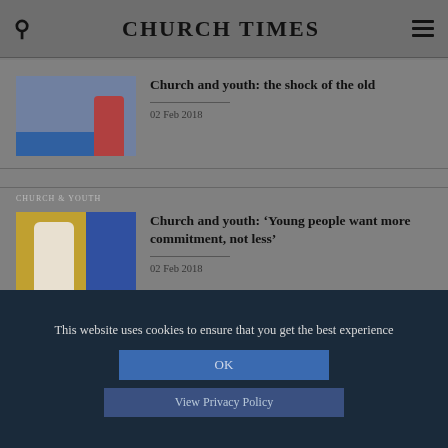CHURCH TIMES
[Figure (photo): Woman at a desk in a church or classroom setting, blue partition visible]
Church and youth: the shock of the old
02 Feb 2018
[Figure (photo): Young people in colorful clothing, blue background on right]
Church and youth: 'Young people want more commitment, not less'
02 Feb 2018
This website uses cookies to ensure that you get the best experience